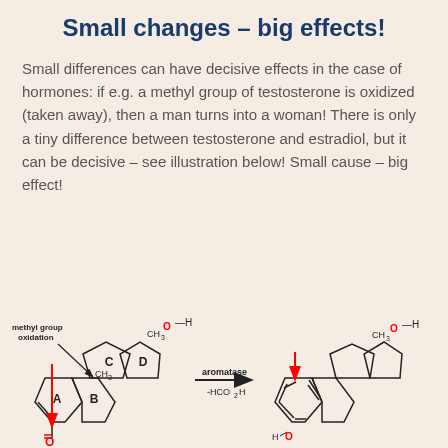Small changes – big effects!
Small differences can have decisive effects in the case of hormones: if e.g. a methyl group of testosterone is oxidized (taken away), then a man turns into a woman! There is only a tiny difference between testosterone and estradiol, but it can be decisive – see illustration below! Small cause – big effect!
[Figure (schematic): Chemical structure diagram showing testosterone converting to estradiol via aromatase enzyme. Left: testosterone molecule with rings A, B, C, D labeled, a red arrow pointing to a ketone group (C=O) on ring A, a methyl group (CH3) between rings B and C, and a CH3/OH group on ring D. A black arrow labeled 'methyl group oxidation' points to the CH3 between B and C. Center: reaction arrow labeled 'aromatase' above and '-HCO2H' below. Right: estradiol molecule with aromatic A ring (double bonds shown), a red arrow pointing to the OH group on ring A (H-O), and the same CH3/OH group on ring D.]